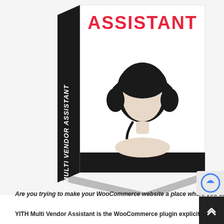[Figure (illustration): 3D box product illustration for 'My Multi Vendor Assistant' plugin. The box has a dark spine on the left with rotated text 'MY MULTI VENDOR ASSISTANT', a white front face with red bold title 'ASSISTANT' at the top, and a black-and-white illustration of a customer service person wearing a headset in the center. The bottom of the box face has a black horizontal band.]
Are you trying to make your WooCommerce website a place where you can host vendor pages and earn commissions from their sales?
YITH Multi Vendor Assistant is the WooCommerce plugin explicitly developed to switch